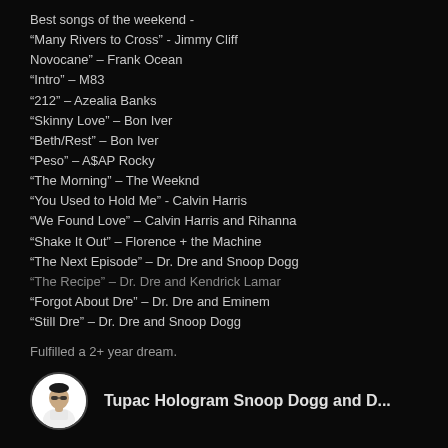Best songs of the weekend -
"Many Rivers to Cross" - Jimmy Cliff
Novocane" – Frank Ocean
"Intro" – M83
"212" – Azealia Banks
"Skinny Love" – Bon Iver
"Beth/Rest" – Bon Iver
"Peso" – A$AP Rocky
"The Morning" – The Weeknd
"You Used to Hold Me" - Calvin Harris
"We Found Love" – Calvin Harris and Rihanna
"Shake It Out" – Florence + the Machine
"The Next Episode" – Dr. Dre and Snoop Dogg
"The Recipe" – Dr. Dre and Kendrick Lamar
"Forgot About Dre" – Dr. Dre and Eminem
"Still Dre" – Dr. Dre and Snoop Dogg
Fulfilled a 2+ year dream.
Tupac Hologram Snoop Dogg and D...